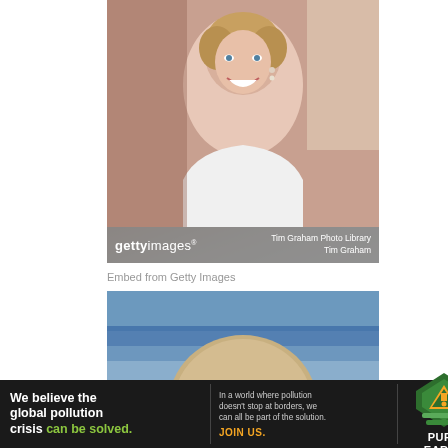[Figure (photo): Portrait photo of Princess Diana smiling, wearing white off-shoulder dress and pearl drop earrings, with Getty Images watermark bar showing 'Tim Graham Photo Library / Tim Graham']
Embed from Getty Images
[Figure (photo): Photo showing back of a person's head with blonde/light brown hair, blurred background with blue-gray tones]
[Figure (other): Pure Earth advertisement banner. Text: 'We believe the global pollution crisis can be solved.' and 'In a world where pollution doesn't stop at borders, we can all be part of the solution. JOIN US.' with Pure Earth logo.]